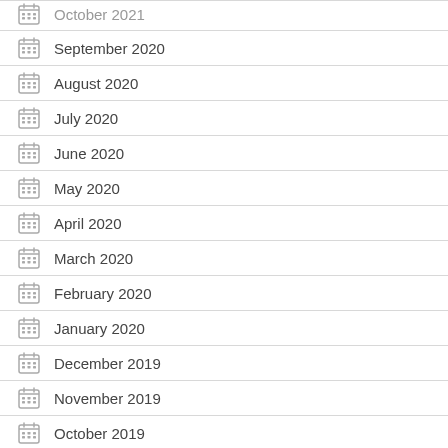October 2021 (partial, cut off at top)
September 2020
August 2020
July 2020
June 2020
May 2020
April 2020
March 2020
February 2020
January 2020
December 2019
November 2019
October 2019